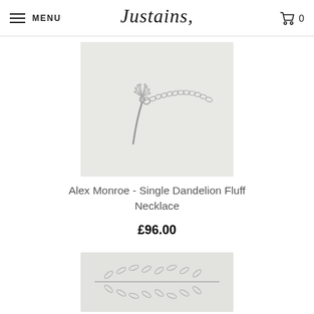MENU  Justains  0
[Figure (photo): Close-up photo of a silver dandelion fluff charm necklace on a delicate chain, against a light grey/white background]
Alex Monroe - Single Dandelion Fluff Necklace
£96.00
[Figure (photo): Close-up photo of silver leaf/branch charm jewellery against a light background]